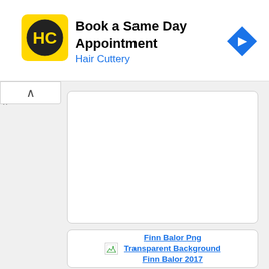[Figure (screenshot): Hair Cuttery advertisement banner with yellow HC logo, 'Book a Same Day Appointment' title, 'Hair Cuttery' subtitle in blue, and a blue navigation arrow icon on the right]
[Figure (screenshot): Web browser UI element: a collapse/chevron-up button in white rounded rectangle]
framescamps (partially visible, truncated link)
[Figure (screenshot): White card with empty content area]
[Figure (screenshot): White card with broken image icon and link text: Finn Balor Png Transparent Background Finn Balor 2017]